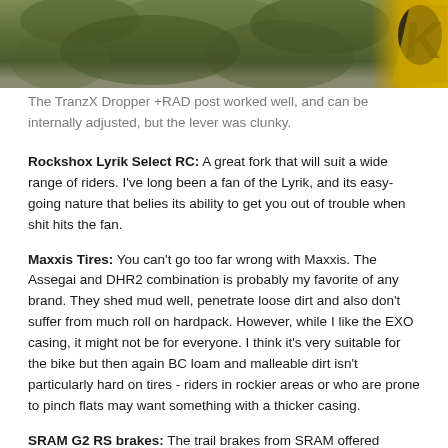[Figure (photo): Photo strip showing mountain bike components against green foliage background, with yellow and black bike fork/logo visible on right side]
The TranzX Dropper +RAD post worked well, and can be internally adjusted, but the lever was clunky.
Rockshox Lyrik Select RC: A great fork that will suit a wide range of riders. I've long been a fan of the Lyrik, and its easy-going nature that belies its ability to get you out of trouble when shit hits the fan.
Maxxis Tires: You can't go too far wrong with Maxxis. The Assegai and DHR2 combination is probably my favorite of any brand. They shed mud well, penetrate loose dirt and also don't suffer from much roll on hardpack. However, while I like the EXO casing, it might not be for everyone. I think it's very suitable for the bike but then again BC loam and malleable dirt isn't particularly hard on tires - riders in rockier areas or who are prone to pinch flats may want something with a thicker casing.
SRAM G2 RS brakes: The trail brakes from SRAM offered relatively good performance, although I was very grateful for the 200mm rotor on the front. The lack of bite-adjust did limit the feel of my rear brake towards the end of testing, but I also lay that at the feet of the soft organic brake pads. Metallic pads would be one of the first upgrades I'd recommend in